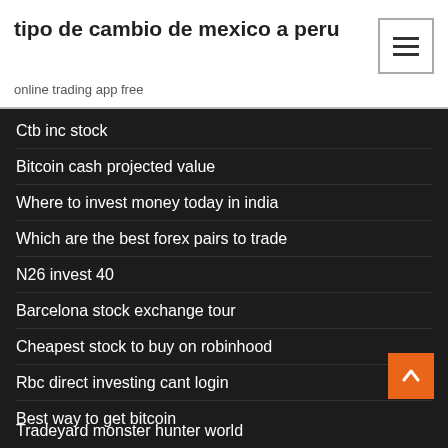tipo de cambio de mexico a peru
online trading app free
Ctb inc stock
Bitcoin cash projected value
Where to invest money today in india
Which are the best forex pairs to trade
N26 invest 40
Barcelona stock exchange tour
Cheapest stock to buy on robinhood
Rbc direct investing cant login
Best way to get bitcoin
Tradeyard monster hunter world